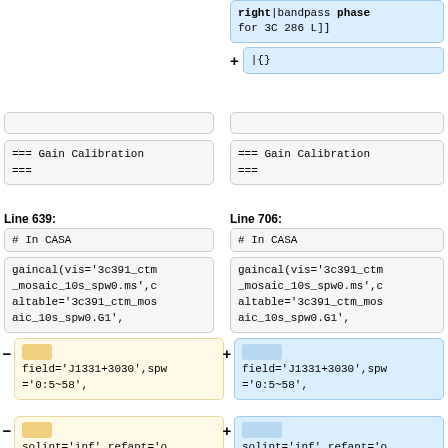right|bandpass phase for 3C 286 L]]
+ |{}
=== Gain Calibration ===
=== Gain Calibration ===
Line 639:
Line 706:
# In CASA
# In CASA
gaincal(vis='3c391_ctm_mosaic_10s_spw0.ms',caltable='3c391_ctm_mosaic_10s_spw0.G1',
gaincal(vis='3c391_ctm_mosaic_10s_spw0.ms',caltable='3c391_ctm_mosaic_10s_spw0.G1',
- field='J1331+3030',spw='0:5~58',
+ field='J1331+3030',spw='0:5~58',
- solint='inf',refant='o...
+ solint='inf',refant='o...